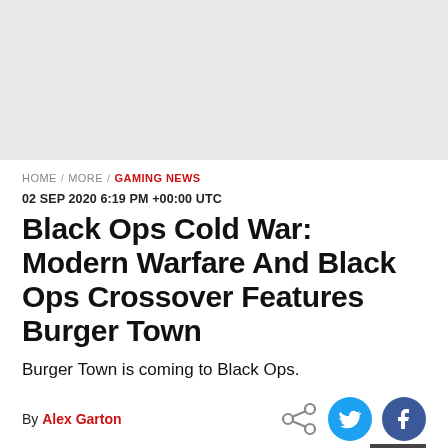[Figure (other): Gray advertisement banner placeholder at top of page]
HOME / MORE / GAMING NEWS
02 SEP 2020 6:19 PM +00:00 UTC
Black Ops Cold War: Modern Warfare And Black Ops Crossover Features Burger Town
Burger Town is coming to Black Ops.
By Alex Garton